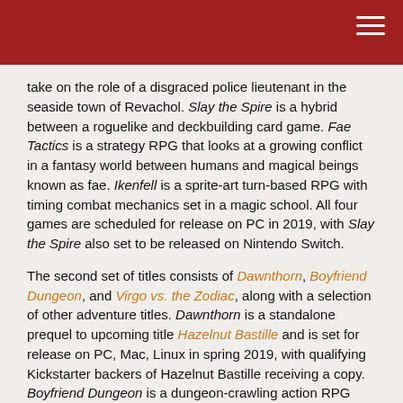take on the role of a disgraced police lieutenant in the seaside town of Revachol. Slay the Spire is a hybrid between a roguelike and deckbuilding card game. Fae Tactics is a strategy RPG that looks at a growing conflict in a fantasy world between humans and magical beings known as fae. Ikenfell is a sprite-art turn-based RPG with timing combat mechanics set in a magic school. All four games are scheduled for release on PC in 2019, with Slay the Spire also set to be released on Nintendo Switch.
The second set of titles consists of Dawnthorn, Boyfriend Dungeon, and Virgo vs. the Zodiac, along with a selection of other adventure titles. Dawnthorn is a standalone prequel to upcoming title Hazelnut Bastille and is set for release on PC, Mac, Linux in spring 2019, with qualifying Kickstarter backers of Hazelnut Bastille receiving a copy. Boyfriend Dungeon is a dungeon-crawling action RPG where the player's weapons transform into people, whom players can take on dates and grow their relationships. Boyfriend Dungeon is planned for release on PC, Mac, and Linux in late 2019. Virgo vs. the Zodiac